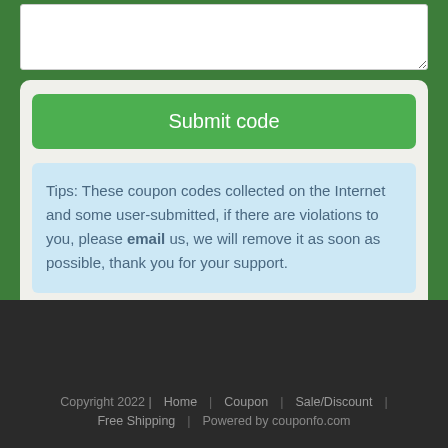[Figure (screenshot): Textarea input box with resize handle at bottom right corner]
Submit code
Tips: These coupon codes collected on the Internet and some user-submitted, if there are violations to you, please email us, we will remove it as soon as possible, thank you for your support.
Copyright 2022 | Home | Coupon | Sale/Discount | Free Shipping | Powered by couponfo.com